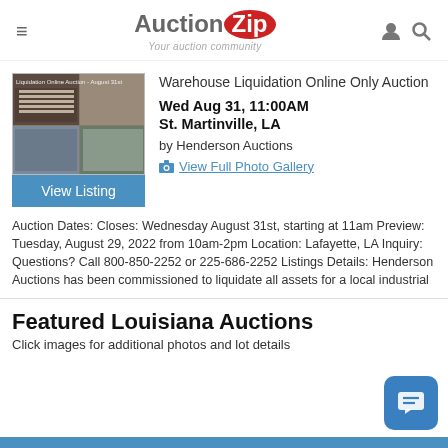AuctionZip - Your auction community
[Figure (screenshot): Warehouse liquidation auction listing thumbnail showing shelving/boxes]
Warehouse Liquidation Online Only Auction
Wed Aug 31, 11:00AM
St. Martinville, LA
by Henderson Auctions
View Full Photo Gallery
Auction Dates: Closes: Wednesday August 31st, starting at 11am Preview: Tuesday, August 29, 2022 from 10am-2pm Location: Lafayette, LA Inquiry: Questions? Call 800-850-2252 or 225-686-2252 Listings Details: Henderson Auctions has been commissioned to liquidate all assets for a local industrial
Featured Louisiana Auctions
Click images for additional photos and lot details